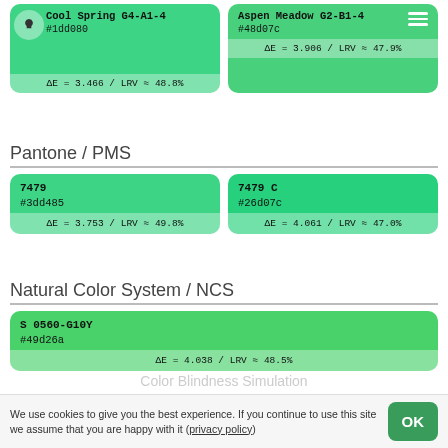[Figure (infographic): Color card: Cool Spring G4-A1-4, hex #1dd080 (partially visible), ΔE = 3.466 / LRV ≈ 48.8%]
[Figure (infographic): Color card: Aspen Meadow G2-B1-4, hex #48d07c, ΔE = 3.906 / LRV ≈ 47.9%]
Pantone / PMS
[Figure (infographic): Color card: 7479, hex #3dd485, ΔE = 3.753 / LRV ≈ 49.8%]
[Figure (infographic): Color card: 7479 C, hex #26d07c, ΔE = 4.061 / LRV ≈ 47.0%]
Natural Color System / NCS
[Figure (infographic): Color card: S 0560-G10Y, hex #49d26a, ΔE = 4.038 / LRV ≈ 48.5%]
We use cookies to give you the best experience. If you continue to use this site we assume that you are happy with it (privacy policy)